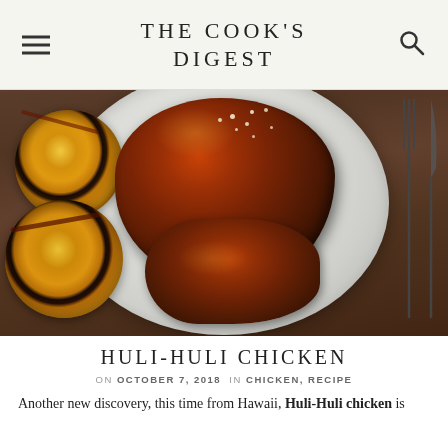THE COOK'S DIGEST
[Figure (photo): Overhead photo of a white plate with glazed Huli-Huli chicken pieces and grilled pineapple slices, with fork and knife to the right, on a wooden surface]
HULI-HULI CHICKEN
ON OCTOBER 7, 2018  IN CHICKEN, RECIPE
Another new discovery, this time from Hawaii, Huli-Huli chicken is a delicious...